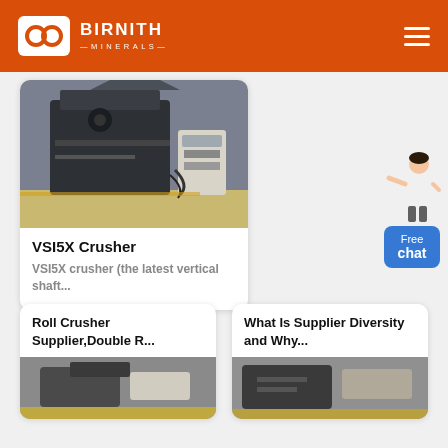BIRNITH MINERALS
[Figure (photo): Photo of VSI5X crusher machine in industrial facility]
VSI5X Crusher
VSI5X crusher (the latest vertical shaft...
[Figure (illustration): Customer service person figure with Free chat button]
Roll Crusher Supplier,Double R...
[Figure (photo): Roll crusher machine photo]
What Is Supplier Diversity and Why...
[Figure (photo): Industrial equipment photo]